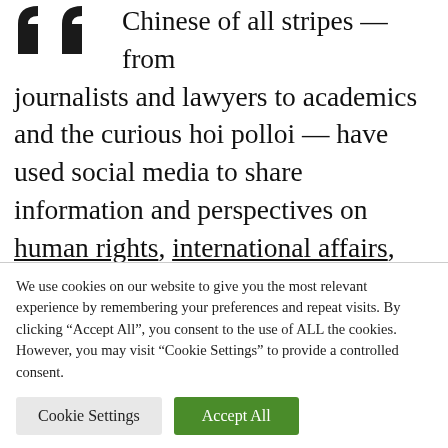[Figure (logo): Two dark quotation mark / logo shapes in upper left]
Chinese of all stripes — from journalists and lawyers to academics and the curious hoi polloi — have used social media to share information and perspectives on human rights, international affairs, propaganda and public diplomacy. But while we emphasize the importance of microblogs as a popular and personal means of communication, we should
We use cookies on our website to give you the most relevant experience by remembering your preferences and repeat visits. By clicking "Accept All", you consent to the use of ALL the cookies. However, you may visit "Cookie Settings" to provide a controlled consent.